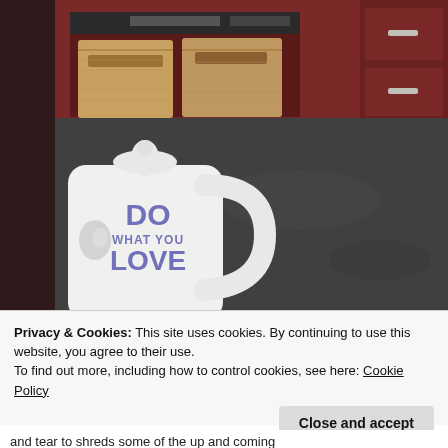[Figure (photo): Photo of a room interior showing a dark mahogany shelf/cabinet unit with two wicker baskets on a shelf, and a white mug with 'DO WHAT YOU LOVE' text in the foreground on a dark floor.]
Privacy & Cookies: This site uses cookies. By continuing to use this website, you agree to their use.
To find out more, including how to control cookies, see here: Cookie Policy
Close and accept
and tear to shreds some of the up and coming